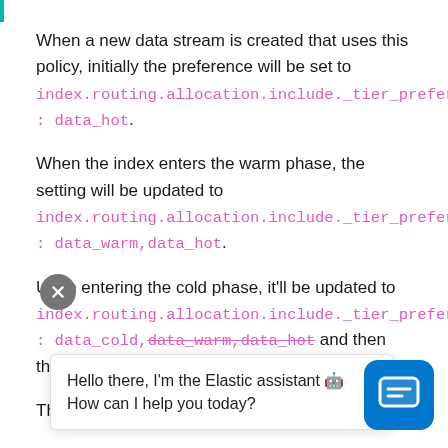When a new data stream is created that uses this policy, initially the preference will be set to index.routing.allocation.include._tier_preference: data_hot.
When the index enters the warm phase, the setting will be updated to index.routing.allocation.include._tier_preference: data_warm,data_hot.
Upon entering the cold phase, it'll be updated to index.routing.allocation.include._tier_preference: data_cold,data_warm,data_hot. and then the index will finally be d...
This automati... e h...
Hello there, I'm the Elastic assistant 🤖 How can I help you today?